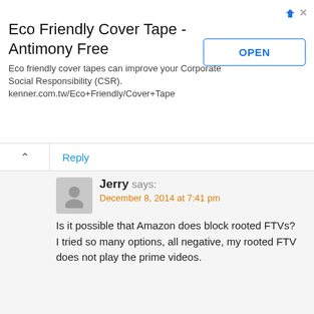[Figure (screenshot): Advertisement banner for Eco Friendly Cover Tape - Antimony Free with an OPEN button]
Reply
Jerry says:
December 8, 2014 at 7:41 pm
Is it possible that Amazon does block rooted FTVs?
I tried so many options, all negative, my rooted FTV does not play the prime videos.
Nolram says:
December 10, 2014 at 1:53 pm
Are you using a smart DNS service to change your location? Check the DNS on your Fire TV network settings or on your router.
I was getting that “unknown_error” message